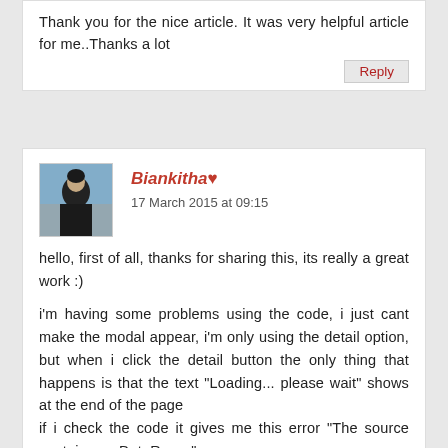Thank you for the nice article. It was very helpful article for me..Thanks a lot
Reply
Biankitha♥
17 March 2015 at 09:15
hello, first of all, thanks for sharing this, its really a great work :)

i'm having some problems using the code, i just cant make the modal appear, i'm only using the detail option, but when i click the detail button the only thing that happens is that the text "Loading... please wait" shows at the end of the page
if i check the code it gives me this error "The source contains no DataRows."

I'm getting the gridview populated but instead of mysql im using sql, is that making that the